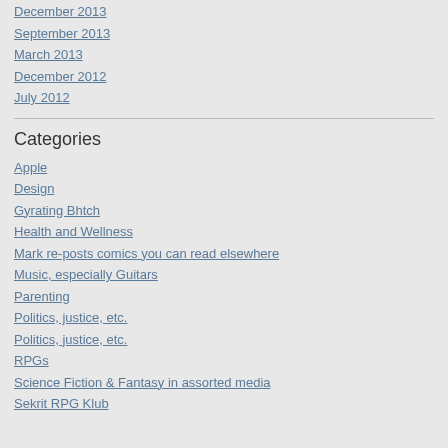December 2013
September 2013
March 2013
December 2012
July 2012
Categories
Apple
Design
Gyrating Bhtch
Health and Wellness
Mark re-posts comics you can read elsewhere
Music, especially Guitars
Parenting
Politics, justice, etc.
Politics, justice, etc.
RPGs
Science Fiction & Fantasy in assorted media
Sekrit RPG Klub